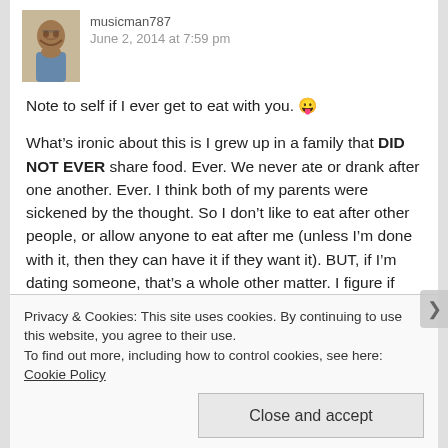[Figure (photo): User avatar photo of a man with a beard and glasses]
musicman787
June 2, 2014 at 7:59 pm
Note to self if I ever get to eat with you. 😜
What’s ironic about this is I grew up in a family that DID NOT EVER share food. Ever. We never ate or drank after one another. Ever. I think both of my parents were sickened by the thought. So I don’t like to eat after other people, or allow anyone to eat after me (unless I’m done with it, then they can have it if they want it). BUT, if I’m dating someone, that’s a whole other matter. I figure if we’re kissing each other anyway then we’re already swapping germs, so why not share food, too. So I make an exception with dating. In fact, I find sharing food with a woman I’m dating pretty romantic…..
Privacy & Cookies: This site uses cookies. By continuing to use this website, you agree to their use.
To find out more, including how to control cookies, see here: Cookie Policy
Close and accept